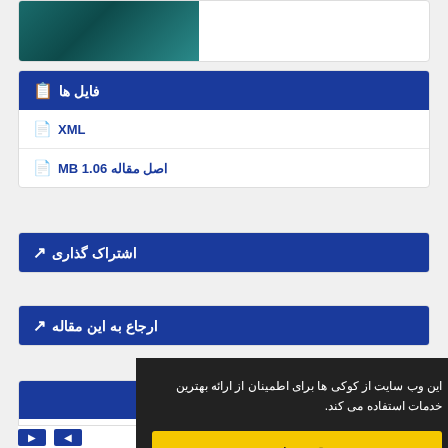[Figure (illustration): Top card with teal/dark green image on the left side]
فایل ها
XML
اصل مقاله 1.06 MB
اشتراک گذاری
ارجاع به این مقاله
این وب سایت از کوکی ها برای اطمینان از ارائه بهترین خدمات استفاده می کند.
متوجه شدم